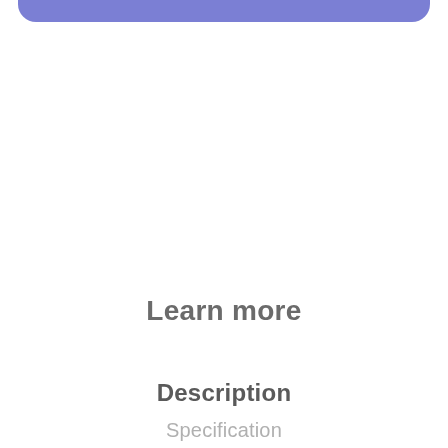[Figure (other): Purple rounded bar at top of page, cropped at the top edge]
Learn more
Description
Specification